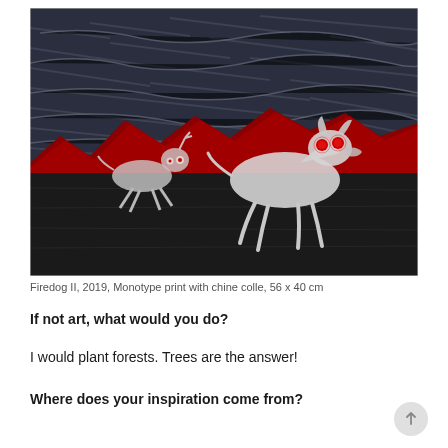[Figure (illustration): A monoprint artwork showing two ghostly white dog-like creatures with red eyes running across a dark landscape with red mountains in the background and a stormy blue-grey sky.]
Firedog II, 2019, Monotype print with chine colle, 56 x 40 cm
If not art, what would you do?
I would plant forests. Trees are the answer!
Where does your inspiration come from?